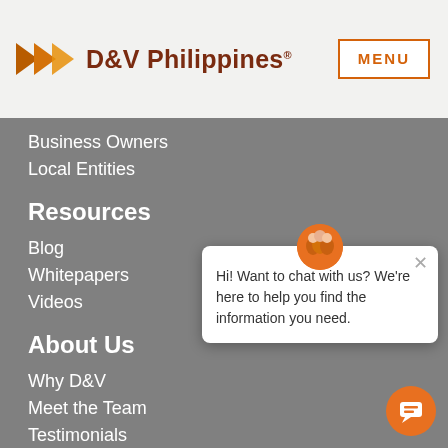[Figure (logo): D&V Philippines logo with orange double-arrow chevron and dark red brand name text]
MENU
Business Owners
Local Entities
Resources
Blog
Whitepapers
Videos
About Us
Why D&V
Meet the Team
Testimonials
[Figure (photo): Chat widget popup with avatar photo of three people, close button, and message: Hi! Want to chat with us? We're here to help you find the information you need.]
[Figure (illustration): Orange circular chat bubble button in bottom right corner]